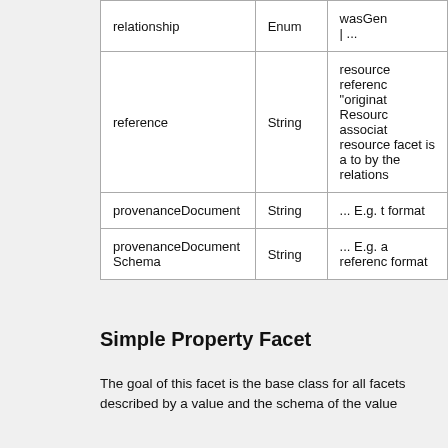|  |  |
| --- | --- |
| relationship | Enum | wasGen | ... |
| reference | String | resource referenc "originat Resource associat resource facet is a to by the relations |
| provenanceDocument | String | ... E.g. t format |
| provenanceDocumentSchema | String | ... E.g. a referenc format |
Simple Property Facet
The goal of this facet is the base class for all facets described by a value and the schema of the value